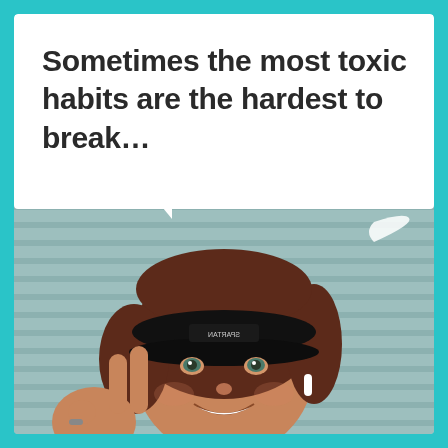[Figure (photo): Social media post screenshot: white speech bubble at top with text 'Sometimes the most toxic habits are the hardest to break...' above a selfie photo of a smiling woman wearing a black visor/cap, making a peace sign, with white earbuds, standing in front of a light blue/teal siding wall. A Nike swoosh watermark is visible in the upper right of the photo. The entire image has a teal/turquoise border.]
Sometimes the most toxic habits are the hardest to break…